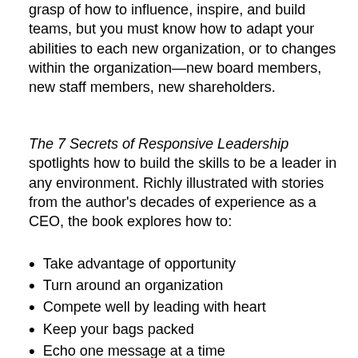grasp of how to influence, inspire, and build teams, but you must know how to adapt your abilities to each new organization, or to changes within the organization—new board members, new staff members, new shareholders.
The 7 Secrets of Responsive Leadership spotlights how to build the skills to be a leader in any environment. Richly illustrated with stories from the author's decades of experience as a CEO, the book explores how to:
Take advantage of opportunity
Turn around an organization
Compete well by leading with heart
Keep your bags packed
Echo one message at a time
Look for opposition
Value the interconnectedness of people